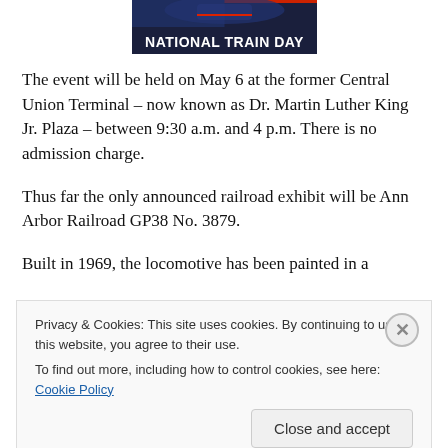[Figure (logo): National Train Day logo banner with dark blue background and train image, white bold text reading 'NATIONAL TRAIN DAY']
The event will be held on May 6 at the former Central Union Terminal – now known as Dr. Martin Luther King Jr. Plaza – between 9:30 a.m. and 4 p.m. There is no admission charge.
Thus far the only announced railroad exhibit will be Ann Arbor Railroad GP38 No. 3879.
Built in 1969, the locomotive has been painted in a
Privacy & Cookies: This site uses cookies. By continuing to use this website, you agree to their use.
To find out more, including how to control cookies, see here: Cookie Policy
Close and accept